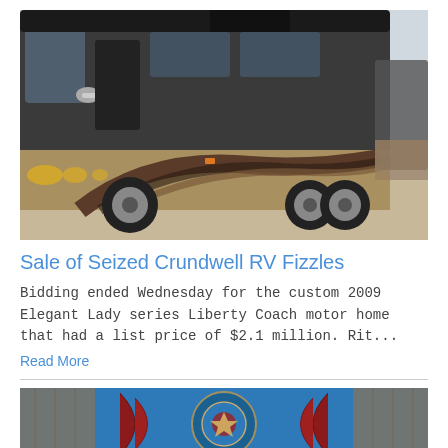[Figure (photo): A large luxury motor coach / RV, black and tan with decorative swoosh graphics, parked in a lot]
Sale of Seized Crundwell RV Fizzles
Bidding ended Wednesday for the custom 2009 Elegant Lady series Liberty Coach motor home that had a list price of $2.1 million. Rit...
Read More
[Figure (photo): Partial image of a circular logo or emblem on a teal/blue background with red and beige decorative elements]